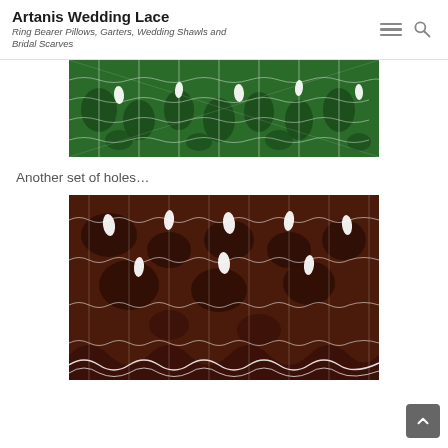Artanis Wedding Lace
Ring Bearer Pillows, Garters, Wedding Shawls and Bridal Scarves
[Figure (photo): Close-up photograph of white knitted lace fabric over a green background, showing intricate hole patterns and leaf motifs.]
Another set of holes…
[Figure (photo): Close-up photograph of white knitted lace fabric over a dark brown/maroon background, showing intricate lace patterns with larger holes and a scalloped edge at the bottom.]